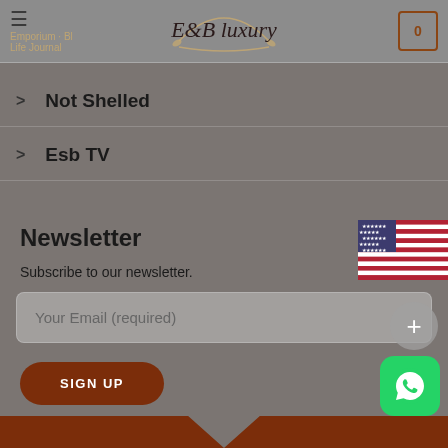E&B Luxury
Not Shelled
Esb TV
Newsletter
Subscribe to our newsletter.
Your Email (required)
SIGN UP
[Figure (illustration): US flag icon in top-right corner]
[Figure (illustration): WhatsApp green icon in bottom-right corner]